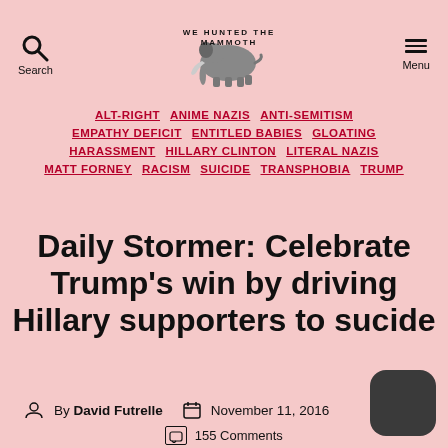WE HUNTED THE MAMMOTH — Search | Menu
ALT-RIGHT ANIME NAZIS ANTI-SEMITISM EMPATHY DEFICIT ENTITLED BABIES GLOATING HARASSMENT HILLARY CLINTON LITERAL NAZIS MATT FORNEY RACISM SUICIDE TRANSPHOBIA TRUMP
Daily Stormer: Celebrate Trump's win by driving Hillary supporters to sucide
By David Futrelle   November 11, 2016
155 Comments